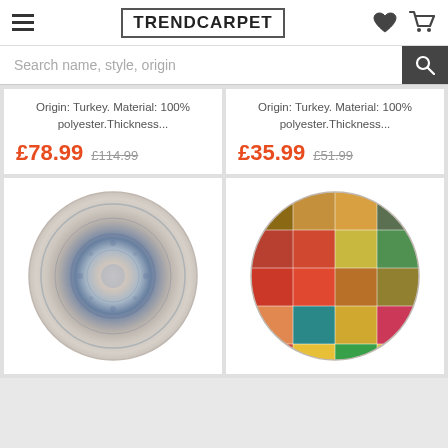TRENDCARPET
Search name, style, origin
Origin: Turkey. Material: 100% polyester.Thickness...
£78.99  £114.99
Origin: Turkey. Material: 100% polyester.Thickness...
£35.99  £51.99
[Figure (photo): Round oriental rug with blue and cream medallion pattern, top-down view]
[Figure (photo): Round patchwork rug with multicolored geometric patches in red, green, teal, yellow and brown, top-down view]